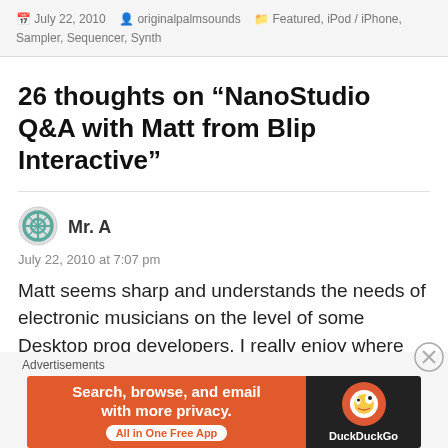July 22, 2010  originalpalmsounds  Featured, iPod / iPhone, Sampler, Sequencer, Synth
26 thoughts on “NanoStudio Q&A with Matt from Blip Interactive”
Mr. A
July 22, 2010 at 7:07 pm
Matt seems sharp and understands the needs of electronic musicians on the level of some Desktop prog developers. I really enjoy where this is headed.
Advertisements
[Figure (screenshot): DuckDuckGo advertisement banner: orange left side with text 'Search, browse, and email with more privacy. All in One Free App' and dark right side with DuckDuckGo logo and name.]